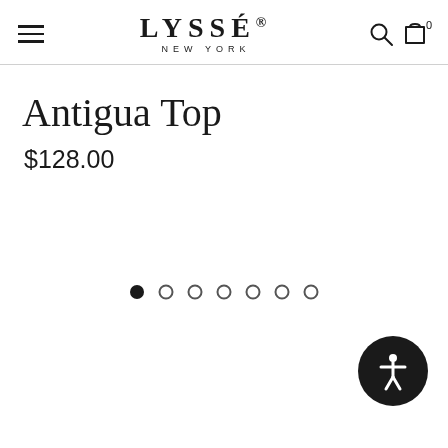LYSSÉ® NEW YORK
Antigua Top
$128.00
[Figure (other): Image carousel dot navigation indicators: 7 dots, first one filled/active, remaining 6 hollow]
[Figure (other): Accessibility button: circular black button with universal accessibility icon (person with outstretched arms)]